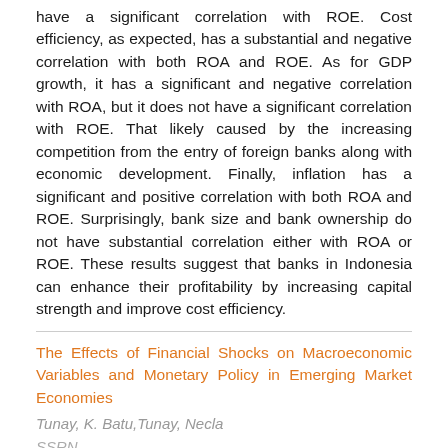have a significant correlation with ROE. Cost efficiency, as expected, has a substantial and negative correlation with both ROA and ROE. As for GDP growth, it has a significant and negative correlation with ROA, but it does not have a significant correlation with ROE. That likely caused by the increasing competition from the entry of foreign banks along with economic development. Finally, inflation has a significant and positive correlation with both ROA and ROE. Surprisingly, bank size and bank ownership do not have substantial correlation either with ROA or ROE. These results suggest that banks in Indonesia can enhance their profitability by increasing capital strength and improve cost efficiency.
The Effects of Financial Shocks on Macroeconomic Variables and Monetary Policy in Emerging Market Economies
Tunay, K. Batu,Tunay, Necla
SSRN
In this study, the effects of financial shocks on macroeconomic variables and monetary policy in small open emerging market economies are analyzed both theoretically and empirically.